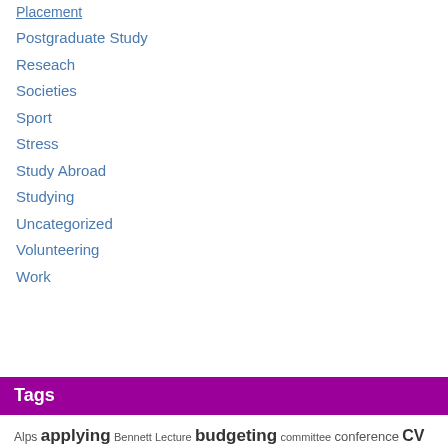Placement
Postgraduate Study
Reseach
Societies
Sport
Stress
Study Abroad
Studying
Uncategorized
Volunteering
Work
Tags
Alps applying Bennett Lecture budgeting committee conference CV